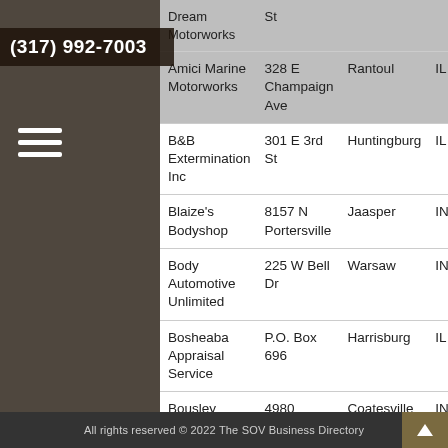| Name | Address | City | State |
| --- | --- | --- | --- |
| Dream Motorworks (partial) | St |  |  |
| Amici Marine Motorworks | 328 E Champaign Ave | Rantoul | IL |
| B&B Extermination Inc | 301 E 3rd St | Huntingburg | IL |
| Blaize's Bodyshop | 8157 N Portersville | Jaasper | IN |
| Body Automotive Unlimited | 225 W Bell Dr | Warsaw | IN |
| Bosheaba Appraisal Service | P.O. Box 696 | Harrisburg | IL |
| Bousley Funeral Home | 4980 Milton St | Coatesville | IN |
| Casa SeVilla | 635 S US | Bloomfi... | IN |
All rights reserved © 2022 The SOV Business Directory